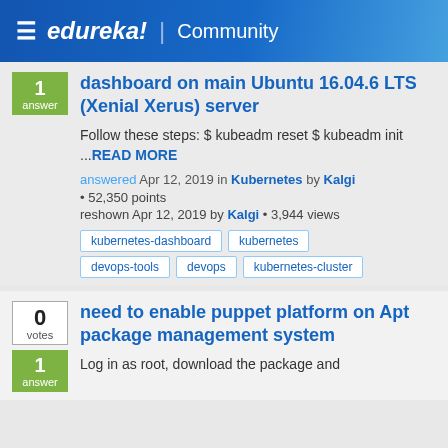≡ edureka! | Community
dashboard on main Ubuntu 16.04.6 LTS (Xenial Xerus) server
Follow these steps: $ kubeadm reset $ kubeadm init ... READ MORE
answered Apr 12, 2019 in Kubernetes by Kalgi
• 52,350 points
reshown Apr 12, 2019 by Kalgi • 3,944 views
kubernetes-dashboard
kubernetes
devops-tools
devops
kubernetes-cluster
need to enable puppet platform on Apt package management system
Log in as root, download the package and